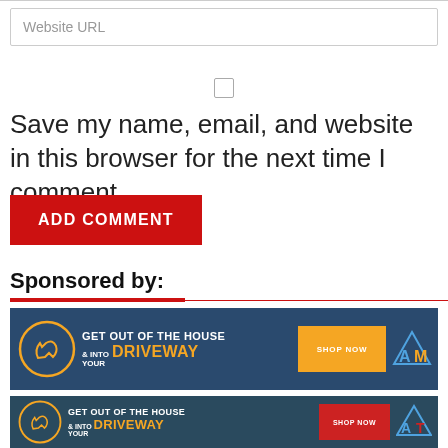Website URL
Save my name, email, and website in this browser for the next time I comment.
ADD COMMENT
Sponsored by:
[Figure (illustration): Advertisement banner: GET OUT OF THE HOUSE & INTO YOUR DRIVEWAY with SHOP NOW button and AM logo on dark blue background]
[Figure (illustration): Advertisement banner: GET OUT OF THE HOUSE & INTO YOUR DRIVEWAY with SHOP NOW button and AT logo on dark blue background]